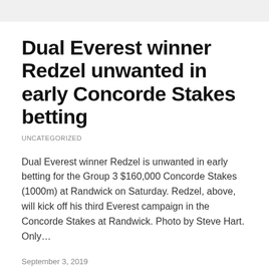Dual Everest winner Redzel unwanted in early Concorde Stakes betting
UNCATEGORIZED
Dual Everest winner Redzel is unwanted in early betting for the Group 3 $160,000 Concorde Stakes (1000m) at Randwick on Saturday. Redzel, above, will kick off his third Everest campaign in the Concorde Stakes at Randwick. Photo by Steve Hart. Only…
September 3, 2019